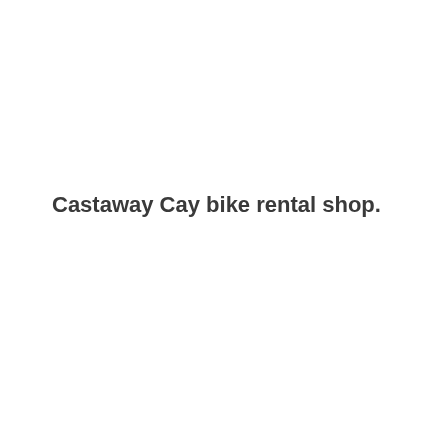Castaway Cay bike rental shop.